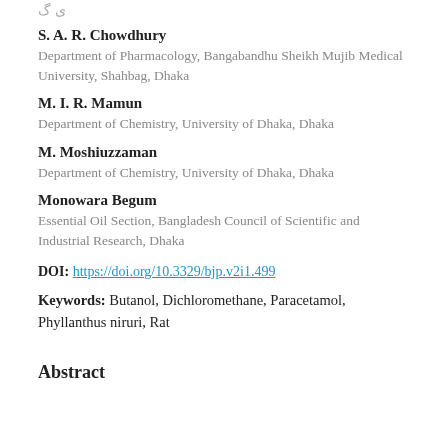S. A. R. Chowdhury
Department of Pharmacology, Bangabandhu Sheikh Mujib Medical University, Shahbag, Dhaka
M. I. R. Mamun
Department of Chemistry, University of Dhaka, Dhaka
M. Moshiuzzaman
Department of Chemistry, University of Dhaka, Dhaka
Monowara Begum
Essential Oil Section, Bangladesh Council of Scientific and Industrial Research, Dhaka
DOI: https://doi.org/10.3329/bjp.v2i1.499
Keywords: Butanol, Dichloromethane, Paracetamol, Phyllanthus niruri, Rat
Abstract